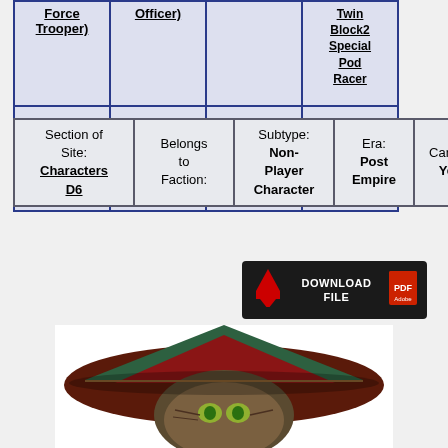| Force Trooper) | Officer) |  | Twin Block2 Special Pod Racer |
| --- | --- | --- | --- |
|  |  |  |  |
| Section of Site: | Belongs to Faction: | Subtype: | Era: | Canon: |
| --- | --- | --- | --- | --- |
| Characters D6 |  | Non-Player Character | Post Empire | Yes |
[Figure (screenshot): Download File button — dark background with red arrow icon and PDF icon]
[Figure (photo): Close-up photo of an alien character wearing a red and green conical helmet/hat, with greenish-yellow eyes and aged, wrinkled skin. Appears to be a pod racer character.]